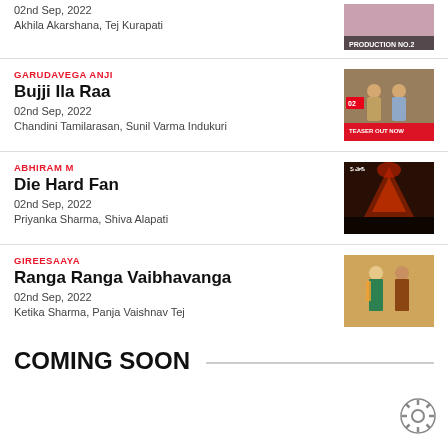02nd Sep, 2022
Akhila Akarshana, Tej Kurapati
[Figure (photo): Movie poster thumbnail at top]
GARUDAVEGA ANJI
Bujji Ila Raa
02nd Sep, 2022
Chandini Tamilarasan, Sunil Varma Indukuri
[Figure (photo): Bujji Ila Raa movie poster - police officers teaser out now]
ABHIRAM M
Die Hard Fan
02nd Sep, 2022
Priyanka Sharma, Shiva Alapati
[Figure (photo): Die Hard Fan movie poster - dark fantasy imagery]
GIREESAAYA
Ranga Ranga Vaibhavanga
02nd Sep, 2022
Ketika Sharma, Panja Vaishnav Tej
[Figure (photo): Ranga Ranga Vaibhavanga movie poster - couple in traditional dress]
COMING SOON